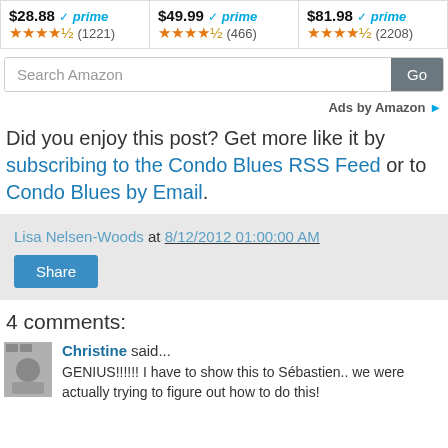[Figure (screenshot): Amazon product row with three items showing prices $28.88, $49.99, $81.98 with Prime badges and star ratings (1221), (466), (2208)]
[Figure (screenshot): Amazon search bar with 'Search Amazon' placeholder and 'Go' button]
Ads by Amazon
Did you enjoy this post? Get more like it by subscribing to the Condo Blues RSS Feed or to Condo Blues by Email.
Lisa Nelsen-Woods at 8/12/2012 01:00:00 AM
Share
4 comments:
Christine said...
GENIUS!!!!!! I have to show this to Sébastien.. we were actually trying to figure out how to do this!